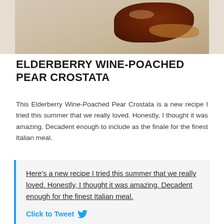[Figure (photo): Partial photo of an elderberry wine-poached pear crostata dessert on a light background, showing dark reddish-brown pastry/fruit from above, cropped at the bottom]
ELDERBERRY WINE-POACHED PEAR CROSTATA
This Elderberry Wine-Poached Pear Crostata is a new recipe I tried this summer that we really loved. Honestly, I thought it was amazing. Decadent enough to include as the finale for the finest Italian meal.
Here's a new recipe I tried this summer that we really loved. Honestly, I thought it was amazing. Decadent enough for the finest Italian meal.
Click to Tweet